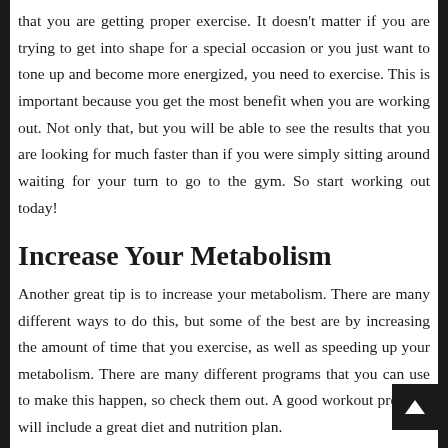that you are getting proper exercise. It doesn't matter if you are trying to get into shape for a special occasion or you just want to tone up and become more energized, you need to exercise. This is important because you get the most benefit when you are working out. Not only that, but you will be able to see the results that you are looking for much faster than if you were simply sitting around waiting for your turn to go to the gym. So start working out today!
Increase Your Metabolism
Another great tip is to increase your metabolism. There are many different ways to do this, but some of the best are by increasing the amount of time that you exercise, as well as speeding up your metabolism. There are many different programs that you can use to make this happen, so check them out. A good workout program will include a great diet and nutrition plan.